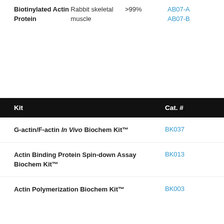|  |  |  |  |
| --- | --- | --- | --- |
| Biotinylated Actin Protein | Rabbit skeletal muscle | >99% | AB07-A
AB07-B |
| Kit | Cat. # |
| --- | --- |
| G-actin/F-actin In Vivo Biochem Kit™ | BK037 |
| Actin Binding Protein Spin-down Assay Biochem Kit™ | BK013 |
| Actin Polymerization Biochem Kit™ | BK003 |